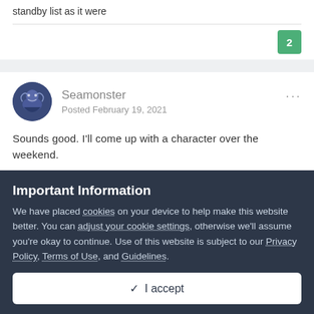standby list as it were
2
Seamonster
Posted February 19, 2021
Sounds good. I'll come up with a character over the weekend.
Important Information
We have placed cookies on your device to help make this website better. You can adjust your cookie settings, otherwise we'll assume you're okay to continue. Use of this website is subject to our Privacy Policy, Terms of Use, and Guidelines.
✓ I accept